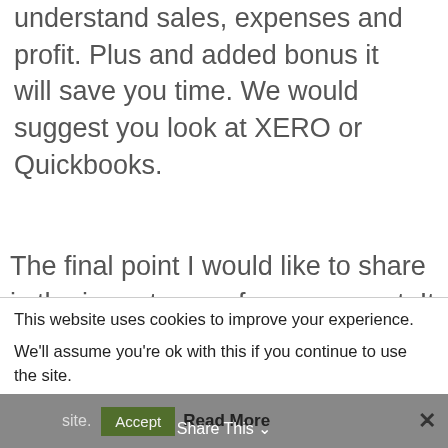understand sales, expenses and profit. Plus and added bonus it will save you time. We would suggest you look at XERO or Quickbooks.
The final point I would like to share is the importance of peer support. It is very lonely being self-employed, especially in the early days when you are not sure what you are doing. For me personally support was critical to
This website uses cookies to improve your experience.

We'll assume you're ok with this if you continue to use the site.
Accept   Read More
Share This